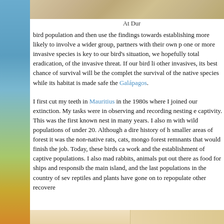[Figure (photo): Partial view of a sandy/earthy colored image at top, cut off]
At Dur...
bird population and then use the findings towards establishing more likely to involve a wider group, partners with their own p... one or more invasive species is key to our bird's situation, we hopefully total eradication, of the invasive threat. If our bird li... other invasives, its best chance of survival will be the complet... the survival of the native species while its habitat is made safe... the Galápagos.
I first cut my teeth in Mauritius in the 1980s where I joined our extinction. My tasks were in observing and recording nesting e... captivity. This was the first known nest in many years. I also m... with wild populations of under 20. Although a dire history of h... smaller areas of forest it was the non-native rats, cats, mongo... forest remnants that would finish the job. Today, these birds ca... work and the establishment of captive populations. I also mad... rabbits, animals put out there as food for ships and responsib... the main island, and the last populations in the country of sev... reptiles and plants have gone on to repopulate other recovere...
[Figure (photo): Partial image at bottom of page, sandy/warm toned]